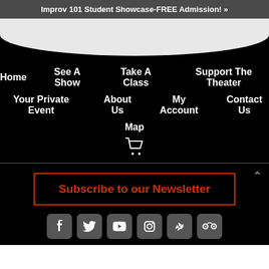Improv 101 Student Showcase-FREE Admission! »
Home
See A Show
Take A Class
Support The Theater
Your Private Event
About Us
My Account
Contact Us
Map
[Figure (illustration): Shopping cart icon in white]
Subscribe to our Newsletter
[Figure (illustration): Social media icons: Facebook, Twitter, YouTube, Instagram, Yelp, TripAdvisor]